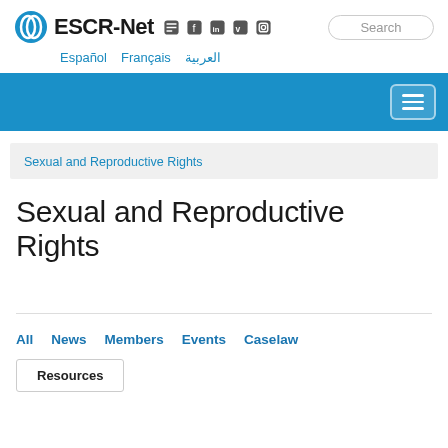ESCR-Net
Español  Français  العربية
Sexual and Reproductive Rights
Sexual and Reproductive Rights
All  News  Members  Events  Caselaw
Resources